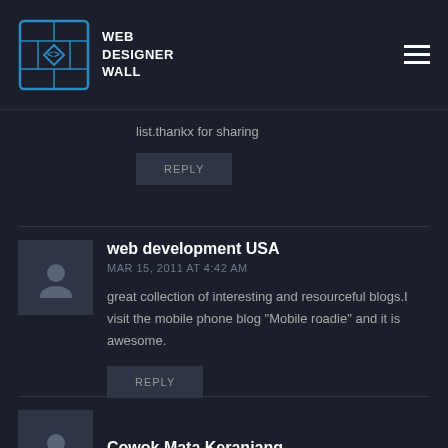WEB DESIGNER WALL
list.thankx for sharing
REPLY
web development USA
MAR 15, 2011 AT 4:42 AM
great collection of interesting and resourceful blogs.I visit the mobile phone blog "Mobile roadie" and it is awesome.
REPLY
Cowok Mata Keranjang